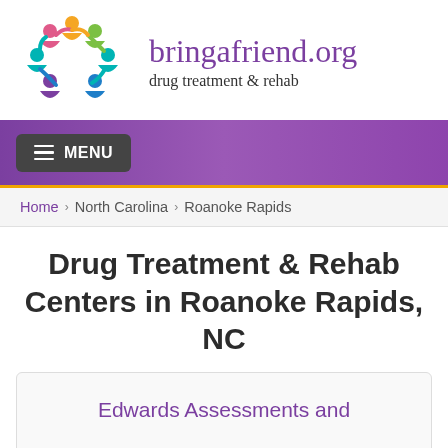[Figure (logo): bringafriend.org logo: colorful circle of people figures in pink, orange, green, teal, blue colors, arranged in a circle]
bringafriend.org
drug treatment & rehab
[Figure (other): Purple navigation bar with hamburger menu button labeled MENU]
Home › North Carolina › Roanoke Rapids
Drug Treatment & Rehab Centers in Roanoke Rapids, NC
Edwards Assessments and Counseling